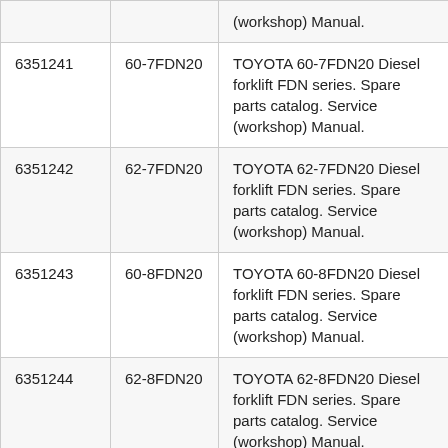|  |  | (workshop) Manual. |
| 6351241 | 60-7FDN20 | TOYOTA 60-7FDN20 Diesel forklift FDN series. Spare parts catalog. Service (workshop) Manual. |
| 6351242 | 62-7FDN20 | TOYOTA 62-7FDN20 Diesel forklift FDN series. Spare parts catalog. Service (workshop) Manual. |
| 6351243 | 60-8FDN20 | TOYOTA 60-8FDN20 Diesel forklift FDN series. Spare parts catalog. Service (workshop) Manual. |
| 6351244 | 62-8FDN20 | TOYOTA 62-8FDN20 Diesel forklift FDN series. Spare parts catalog. Service (workshop) Manual. |
| 6351245 | 70-8FDN20 | TOYOTA 70-8FDN20 Diesel forklift FDN series. Spare parts catalog. Service (workshop) Manual. |
| 6351246 | 72-8FDN20 | TOYOTA 72-8FDN20 Diesel forklift FDN series. Spare parts catalog. Service (workshop) Manual. |